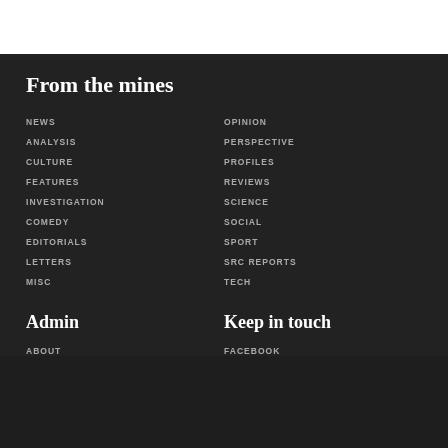From the mines
NEWS
OPINION
ANALYSIS
PERSPECTIVE
CULTURE
PROFILES
FEATURES
REVIEWS
INVESTIGATION
SCIENCE
COMEDY
SOCIAL
EDITORIALS
SPORT
LETTERS
SRC REPORTS
MISC
TECH
Admin
Keep in touch
ABOUT
FACEBOOK